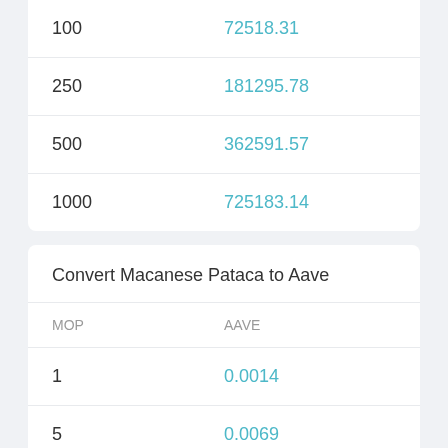|  |  |
| --- | --- |
| 100 | 72518.31 |
| 250 | 181295.78 |
| 500 | 362591.57 |
| 1000 | 725183.14 |
Convert Macanese Pataca to Aave
| MOP | AAVE |
| --- | --- |
| 1 | 0.0014 |
| 5 | 0.0069 |